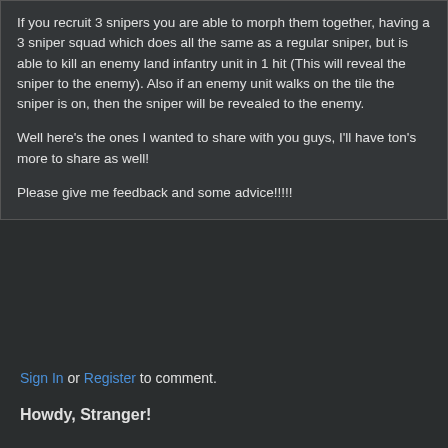If you recruit 3 snipers you are able to morph them together, having a 3 sniper squad which does all the same as a regular sniper, but is able to kill an enemy land infantry unit in 1 hit (This will reveal the sniper to the enemy). Also if an enemy unit walks on the tile the sniper is on, then the sniper will be revealed to the enemy.

Well here's the ones I wanted to share with you guys, I'll have ton's more to share as well!

Please give me feedback and some advice!!!!!
Sign In or Register to comment.
Howdy, Stranger!